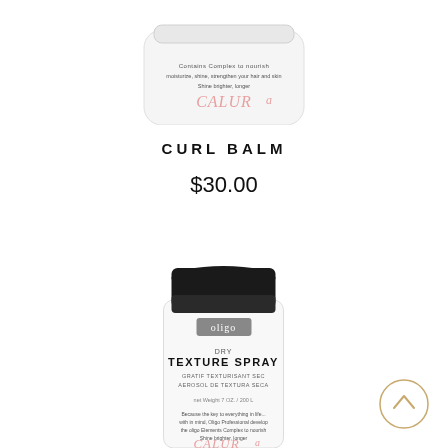[Figure (photo): Partial view of a white Calura curl balm jar product, bottom portion visible with pink Calura branding]
CURL BALM
$30.00
[Figure (photo): Oligo Professional Dry Texture Spray aerosol can with black cap, white label featuring bold black text reading DRY TEXTURE SPRAY, Oligo logo in grey rectangle, with Calura branding at the bottom]
[Figure (other): Back to top circular button with upward chevron arrow, gold/tan outline circle]